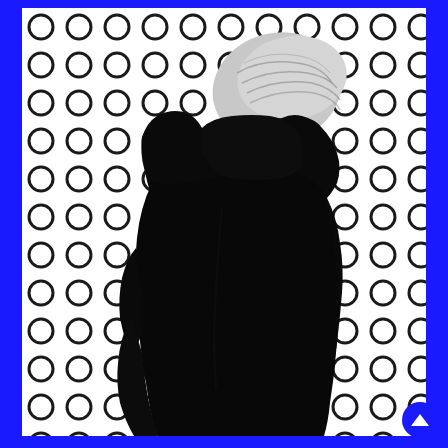[Figure (photo): Black and white photograph of a person seen from behind/side, wearing a dark black coat or jacket with their blonde hair up, standing against a white background covered in a repeating pattern of black circle outlines (rings). The image is framed by a bright blue border on the left and right sides.]